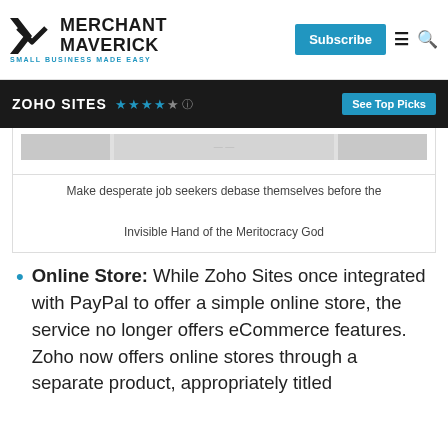MERCHANT MAVERICK — SMALL BUSINESS MADE EASY — Subscribe
ZOHO SITES ★★★★☆ — See Top Picks
[Figure (screenshot): Screenshot of a job listings page]
Make desperate job seekers debase themselves before the Invisible Hand of the Meritocracy God
Online Store: While Zoho Sites once integrated with PayPal to offer a simple online store, the service no longer offers eCommerce features. Zoho now offers online stores through a separate product, appropriately titled